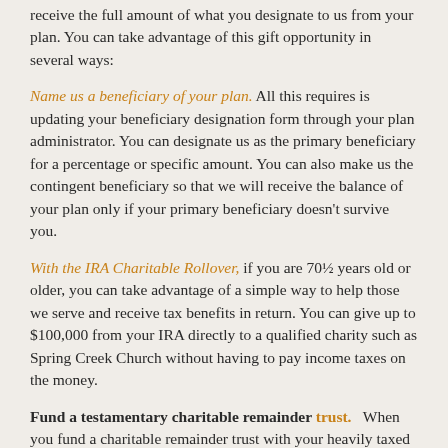receive the full amount of what you designate to us from your plan. You can take advantage of this gift opportunity in several ways:
Name us a beneficiary of your plan. All this requires is updating your beneficiary designation form through your plan administrator. You can designate us as the primary beneficiary for a percentage or specific amount. You can also make us the contingent beneficiary so that we will receive the balance of your plan only if your primary beneficiary doesn't survive you.
With the IRA Charitable Rollover, if you are 70½ years old or older, you can take advantage of a simple way to help those we serve and receive tax benefits in return. You can give up to $100,000 from your IRA directly to a qualified charity such as Spring Creek Church without having to pay income taxes on the money.
Fund a testamentary charitable remainder trust. When you fund a charitable remainder trust with your heavily taxed retirement plan assets, the trust will receive the proceeds of your plan upon your death. The trust typically